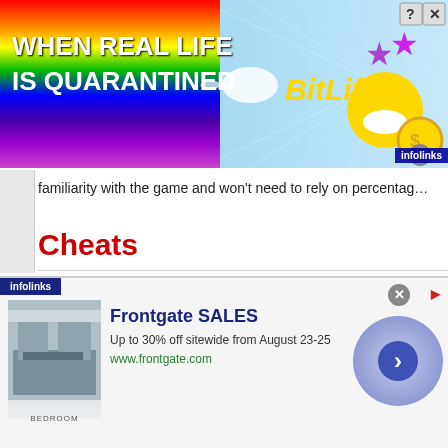[Figure (screenshot): BitLife advertisement banner at the top of the page showing rainbow background, game logo, and character icons]
familiarity with the game and won't need to rely on percentage
Cheats
Typing r turns the Pterodactyl Watch on/off, useful if seeing it distracts y
Type bouncebouncebounce for an extra life once per game.
Graphics
[Figure (screenshot): Frontgate SALES advertisement banner at the bottom of the page showing bedroom furniture image and sale information]